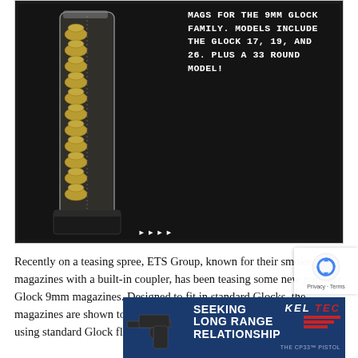[Figure (photo): Product photo of a transparent/smoke polymer magazine loaded with brass 9mm cartridges, set against a black background. White uppercase text overlay reads: MAGS FOR THE 9MM GLOCK FAMILY. MODELS INCLUDE THE GLOCK 17, 19, AND 26. PLUS A 33 ROUND MODEL!]
Recently on a teasing spree, ETS Group, known for their smoke magazines with a built-in coupler, has been teasing some new polymer Glock 9mm magazines. Designed to fit in standard Glocks, the magazines are shown to be Generation 4 compatible. Further, ETS is using standard Glock floor plates for easy accessory additions.
[Figure (photo): Advertisement banner for Kel-Tec CP33 pistol. Dark blue background with image of a pistol on the left. Text reads: SEEKING LONG RANGE RELATIONSHIP, with Kel-Tec logo and red stripes on the right, and THE CP33 PISTOL subtitle.]